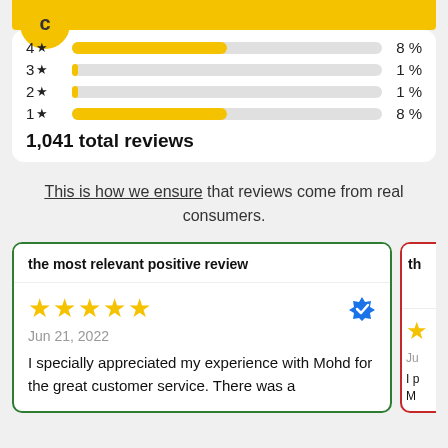[Figure (bar-chart): Star rating distribution]
1,041 total reviews
This is how we ensure that reviews come from real consumers.
the most relevant positive review
★★★★★ Jun 21, 2022 I specially appreciated my experience with Mohd for the great customer service. There was a